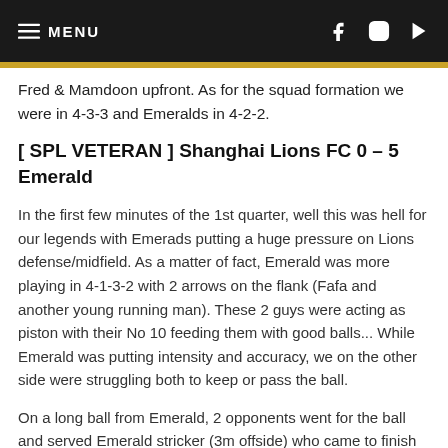≡ MENU
Fred & Mamdoon upfront. As for the squad formation we were in 4-3-3 and Emeralds in 4-2-2.
[ SPL VETERAN ] Shanghai Lions FC 0 – 5 Emerald
In the first few minutes of the 1st quarter, well this was hell for our legends with Emerads putting a huge pressure on Lions defense/midfield. As a matter of fact, Emerald was more playing in 4-1-3-2 with 2 arrows on the flank (Fafa and another young running man). These 2 guys were acting as piston with their No 10 feeding them with good balls... While Emerald was putting intensity and accuracy, we on the other side were struggling both to keep or pass the ball.
On a long ball from Emerald, 2 opponents went for the ball and served Emerald stricker (3m offside) who came to finish Pascal on a 1 on 1. Good call from the referee... it was indeed the Lion player who touched/gave the